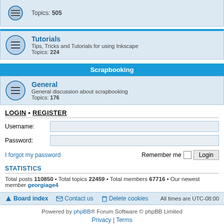Topics: 505
Tutorials — Tips, Tricks and Tutorials for using Inkscape — Topics: 224
Scrapbooking
General — General discussion about scrapbooking — Topics: 176
LOGIN • REGISTER
Username:
Password:
I forgot my password   Remember me  Login
STATISTICS
Total posts 110850 • Total topics 22459 • Total members 67716 • Our newest member georgiage4
Board index  Contact us  Delete cookies  All times are UTC-08:00
Powered by phpBB® Forum Software © phpBB Limited  Privacy | Terms